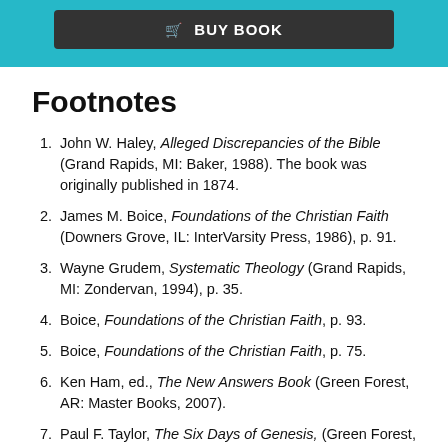[Figure (other): Teal banner with dark BUY BOOK button]
Footnotes
John W. Haley, Alleged Discrepancies of the Bible (Grand Rapids, MI: Baker, 1988). The book was originally published in 1874.
James M. Boice, Foundations of the Christian Faith (Downers Grove, IL: InterVarsity Press, 1986), p. 91.
Wayne Grudem, Systematic Theology (Grand Rapids, MI: Zondervan, 1994), p. 35.
Boice, Foundations of the Christian Faith, p. 93.
Boice, Foundations of the Christian Faith, p. 75.
Ken Ham, ed., The New Answers Book (Green Forest, AR: Master Books, 2007).
Paul F. Taylor, The Six Days of Genesis, (Green Forest, AR: Master